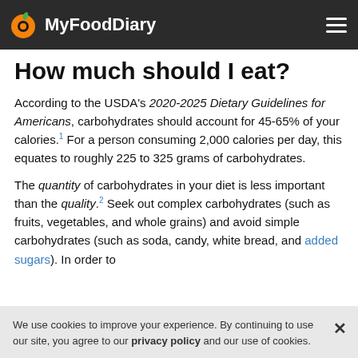MyFoodDiary
How much should I eat?
According to the USDA's 2020-2025 Dietary Guidelines for Americans, carbohydrates should account for 45-65% of your calories.1 For a person consuming 2,000 calories per day, this equates to roughly 225 to 325 grams of carbohydrates.
The quantity of carbohydrates in your diet is less important than the quality.2 Seek out complex carbohydrates (such as fruits, vegetables, and whole grains) and avoid simple carbohydrates (such as soda, candy, white bread, and added sugars). In order to
We use cookies to improve your experience. By continuing to use our site, you agree to our privacy policy and our use of cookies.